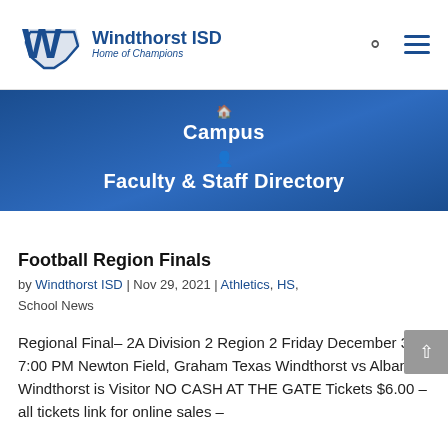Windthorst ISD Home of Champions
Campus
Faculty & Staff Directory
Football Region Finals
by Windthorst ISD | Nov 29, 2021 | Athletics, HS, School News
Regional Final– 2A Division 2 Region 2 Friday December 3 at 7:00 PM Newton Field, Graham Texas Windthorst vs Albany Windthorst is Visitor NO CASH AT THE GATE Tickets $6.00 – all tickets link for online sales –